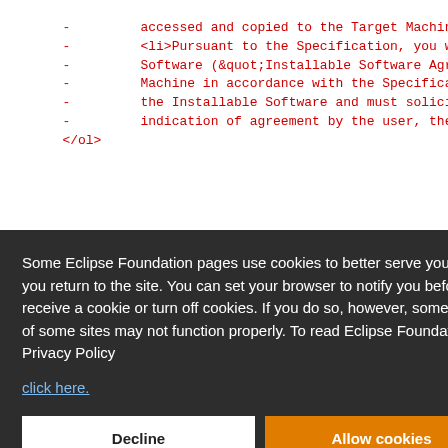Code content with list items and license text (red monospace, partially visible)
Some Eclipse Foundation pages use cookies to better serve you when you return to the site. You can set your browser to notify you before you receive a cookie or turn off cookies. If you do so, however, some areas of some sites may not function properly. To read Eclipse Foundation Privacy Policy
click here.
Decline | Allow cookies buttons
# oracle - Initial API and implementation
######################################